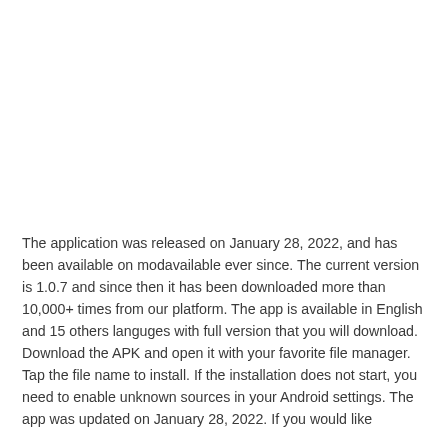The application was released on January 28, 2022, and has been available on modavailable ever since. The current version is 1.0.7 and since then it has been downloaded more than 10,000+ times from our platform. The app is available in English and 15 others languges with full version that you will download. Download the APK and open it with your favorite file manager. Tap the file name to install. If the installation does not start, you need to enable unknown sources in your Android settings. The app was updated on January 28, 2022. If you would like